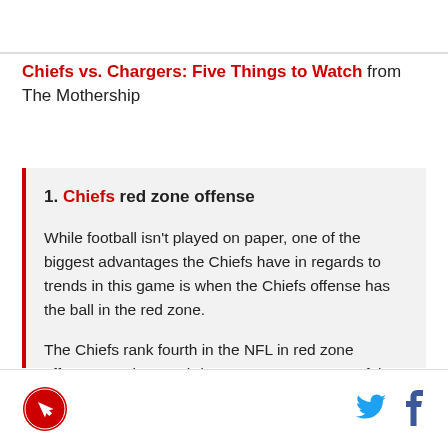Chiefs vs. Chargers: Five Things to Watch from The Mothership
1. Chiefs red zone offense
While football isn't played on paper, one of the biggest advantages the Chiefs have in regards to trends in this game is when the Chiefs offense has the ball in the red zone.
The Chiefs rank fourth in the NFL in red zone offense, scoring touchdowns on 70.6 percent of the drives that get them inside the opponent's 20-yard line.
[Figure (logo): Arrowhead Pride logo - red circle with rocket/arrow graphic]
[Figure (logo): Twitter bird icon in blue]
[Figure (logo): Facebook f icon in dark blue]